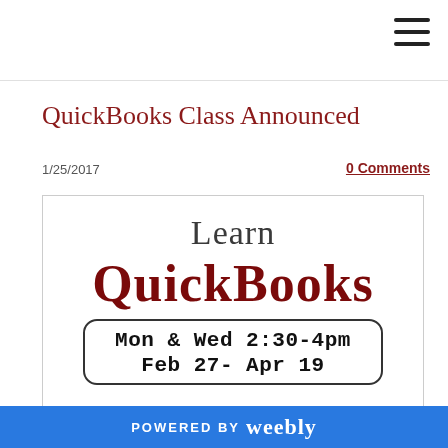QuickBooks Class Announced
1/25/2017
0 Comments
[Figure (illustration): Promotional flyer for QuickBooks class. Shows 'Learn QuickBooks' in large text at top, followed by a rounded rectangle box containing schedule: 'Mon & Wed 2:30-4pm' and 'Feb 27- Apr 19']
POWERED BY weebly